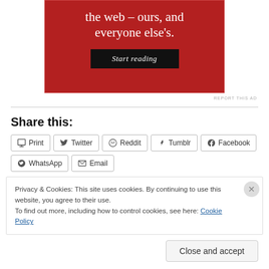[Figure (other): Red advertisement banner with white serif text reading 'the web – ours, and everyone else's.' and a dark 'Start reading' button]
REPORT THIS AD
Share this:
Print
Twitter
Reddit
Tumblr
Facebook
WhatsApp
Email
Privacy & Cookies: This site uses cookies. By continuing to use this website, you agree to their use.
To find out more, including how to control cookies, see here: Cookie Policy